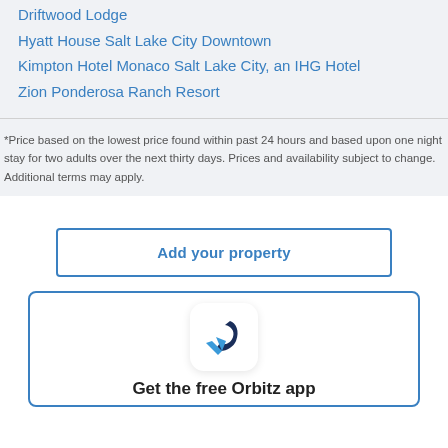Driftwood Lodge
Hyatt House Salt Lake City Downtown
Kimpton Hotel Monaco Salt Lake City, an IHG Hotel
Zion Ponderosa Ranch Resort
*Price based on the lowest price found within past 24 hours and based upon one night stay for two adults over the next thirty days. Prices and availability subject to change. Additional terms may apply.
Add your property
Get the free Orbitz app